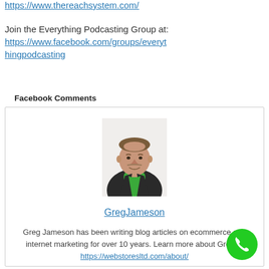https://www.thereachsystem.com/
Join the Everything Podcasting Group at: https://www.facebook.com/groups/everythingpodcasting
Facebook Comments
[Figure (photo): Profile photo of Greg Jameson, a middle-aged man wearing a black blazer over a green shirt, white background]
GregJameson
Greg Jameson has been writing blog articles on ecommerce and internet marketing for over 10 years. Learn more about Greg at https://webstoresltd.com/about/